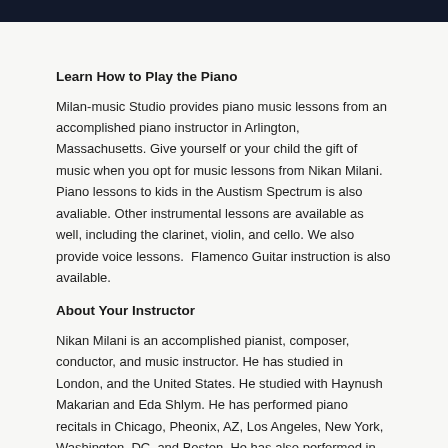Learn How to Play the Piano
Milan-music Studio provides piano music lessons from an accomplished piano instructor in Arlington, Massachusetts. Give yourself or your child the gift of music when you opt for music lessons from Nikan Milani. Piano lessons to kids in the Austism Spectrum is also avaliable. Other instrumental lessons are available as well, including the clarinet, violin, and cello. We also provide voice lessons.  Flamenco Guitar instruction is also available.
About Your Instructor
Nikan Milani is an accomplished pianist, composer, conductor, and music instructor. He has studied in London, and the United States. He studied with Haynush Makarian and Eda Shlym. He has performed piano recitals in Chicago, Pheonix, AZ, Los Angeles, New York, Washington, DC, and Boston. He has also performed in